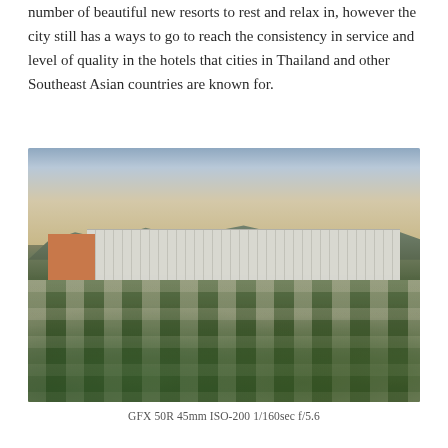number of beautiful new resorts to rest and relax in, however the city still has a ways to go to reach the consistency in service and level of quality in the hotels that cities in Thailand and other Southeast Asian countries are known for.
[Figure (photo): Aerial/elevated view of a Southeast Asian city (likely Da Nang or similar) at golden hour/sunset, showing a large white hotel building in the background with mountains behind it, surrounded by scattered villa-style buildings and lush green tropical trees in the foreground.]
GFX 50R 45mm ISO-200 1/160sec f/5.6